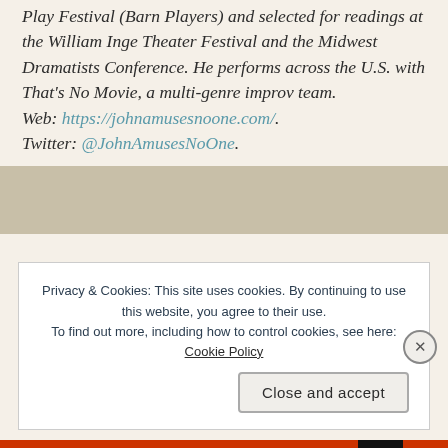Play Festival (Barn Players) and selected for readings at the William Inge Theater Festival and the Midwest Dramatists Conference. He performs across the U.S. with That's No Movie, a multi-genre improv team. Web: https://johnamusesnoone.com/. Twitter: @JohnAmusesNoOne.
Privacy & Cookies: This site uses cookies. By continuing to use this website, you agree to their use. To find out more, including how to control cookies, see here: Cookie Policy